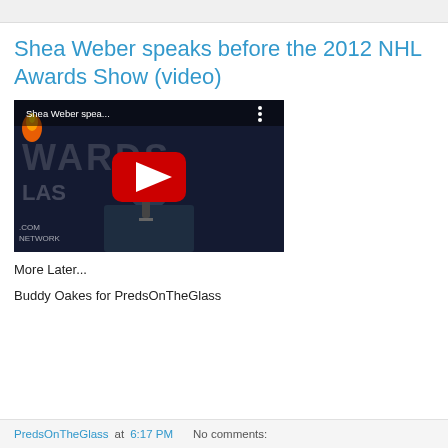Shea Weber speaks before the 2012 NHL Awards Show (video)
[Figure (screenshot): YouTube video thumbnail showing Shea Weber speaking at a microphone in front of an AWARDS LAS backdrop, with a YouTube play button overlay. Title overlay reads 'Shea Weber spea...' with a three-dot menu icon.]
More Later...
Buddy Oakes for PredsOnTheGlass
PredsOnTheGlass at 6:17 PM    No comments: